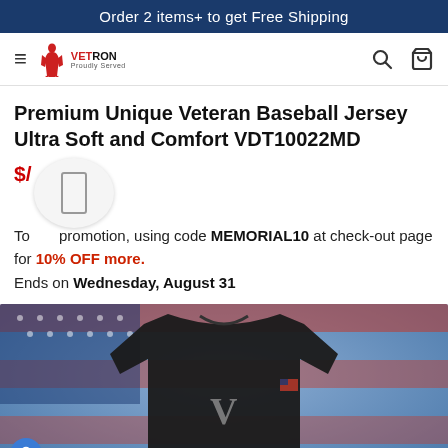Order 2 items+ to get Free Shipping
[Figure (logo): Vetron brand logo with red soldier silhouette and VETRON text]
Premium Unique Veteran Baseball Jersey Ultra Soft and Comfort VDT10022MD
$/ [price obscured by popup]
To [get the] promotion, using code MEMORIAL10 at check-out page for 10% OFF more. Ends on Wednesday, August 31
[Figure (photo): Black veteran baseball jersey with V logo shown against American flag blurred background]